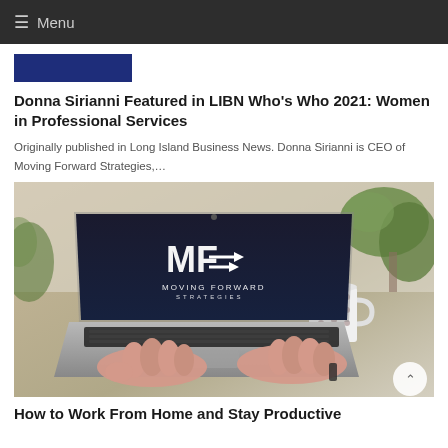≡ Menu
[Figure (other): Dark navy blue rectangular banner image (partially visible)]
Donna Sirianni Featured in LIBN Who's Who 2021: Women in Professional Services
Originally published in Long Island Business News. Donna Sirianni is CEO of Moving Forward Strategies,…
[Figure (photo): Photo of a person's hands typing on a laptop computer. The laptop screen displays the Moving Forward Strategies logo (MF with arrows). A coffee mug and plants are visible in the background on a wooden desk.]
How to Work From Home and Stay Productive